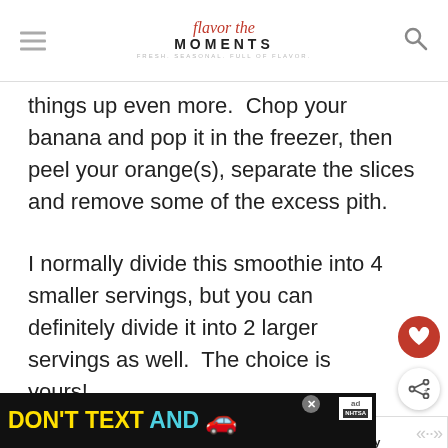Flavor the Moments — FRESH. SEASONAL. FULL OF FLAVOR.
things up even more.  Chop your banana and pop it in the freezer, then peel your orange(s), separate the slices and remove some of the excess pith.
I normally divide this smoothie into 4 smaller servings, but you can definitely divide it into 2 larger servings as well.  The choice is yours!
This 3-Ingredient Orange Cream Smoothie is bursting with the flavor of real oranges and has such a creamy texture that you'd never know it w
[Figure (other): WHAT'S NEXT widget showing Blueberry Banana... with thumbnail image of smoothie]
[Figure (other): Advertisement banner: DON'T TEXT AND [car emoji] with ad badge and NHTSA branding]